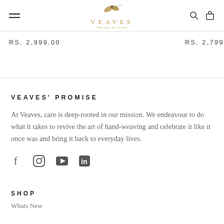VEAVES — The art of linen
RS. 2,999.00   RS. 2,799
VEAVES' PROMISE
At Veaves, care is deep-rooted in our mission. We endeavour to do what it takes to revive the art of hand-weaving and celebrate it like it once was and bring it back to everyday lives.
[Figure (other): Social media icons: Facebook, Instagram, YouTube, LinkedIn]
SHOP
Whats New